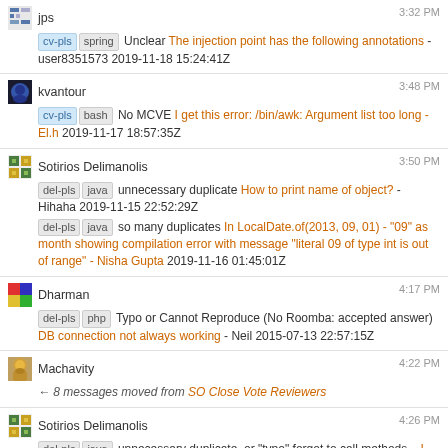jps 3:32 PM | cv-pls spring Unclear The injection point has the following annotations - user8351573 2019-11-18 15:24:41Z
kvantour 3:48 PM | cv-pls bash No MCVE I get this error: /bin/awk: Argument list too long - El.h 2019-11-17 18:57:35Z
Sotirios Delimanolis 3:50 PM | del-pls java unnecessary duplicate How to print name of object? - Hihaha 2019-11-15 22:52:29Z | del-pls java so many duplicates In LocalDate.of(2013, 09, 01) - "09" as month showing compilation error with message "literal 09 of type int is out of range" - Nisha Gupta 2019-11-16 01:45:01Z
Dharman 4:17 PM | del-pls php Typo or Cannot Reproduce (No Roomba: accepted answer) DB connection not always working - Neil 2015-07-13 22:57:15Z
Machavity 4:22 PM | ← 8 messages moved from SO Close Vote Reviewers
Sotirios Delimanolis 4:26 PM | del-pls java unnecessary duplicate, or "typo" forgot to call methods... I can not understand why my console is not showing any of my output - Joe Emery 2019-11-16 13:48:17Z
Nicholas K 4:30 PM | angular cv-pls Typo stackoverflow.com/questions/58904154/